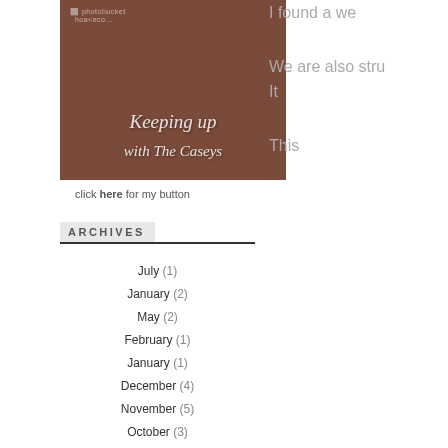[Figure (photo): Blog button image with cursive text 'Keeping up with The Caseys' overlaid on a photo background with a photobucket watermark]
click here for my button
ARCHIVES
July (1)
January (2)
May (2)
February (1)
January (1)
December (4)
November (5)
October (3)
September (3)
August (2)
I found a we...
We are also stru... It...
This...